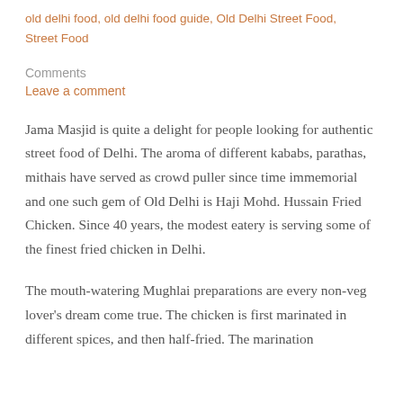old delhi food, old delhi food guide, Old Delhi Street Food, Street Food
Comments
Leave a comment
Jama Masjid is quite a delight for people looking for authentic street food of Delhi. The aroma of different kababs, parathas, mithais have served as crowd puller since time immemorial and one such gem of Old Delhi is Haji Mohd. Hussain Fried Chicken. Since 40 years, the modest eatery is serving some of the finest fried chicken in Delhi.
The mouth-watering Mughlai preparations are every non-veg lover's dream come true. The chicken is first marinated in different spices, and then half-fried. The marination